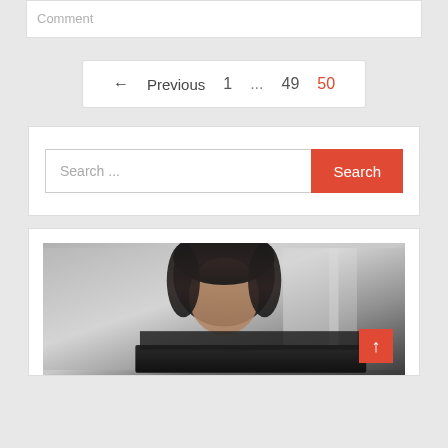Comment
← Previous  1  ...  49  50
Search ...
[Figure (photo): Blurred photo of a person with dark hair looking over a laptop screen, with a red back-to-top button (↑) in the bottom right corner]